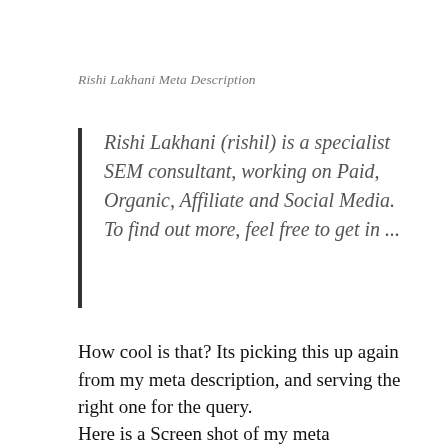Rishi Lakhani Meta Description
Rishi Lakhani (rishil) is a specialist SEM consultant, working on Paid, Organic, Affiliate and Social Media. To find out more, feel free to get in ...
How cool is that? Its picking this up again from my meta description, and serving the right one for the query.
Here is a Screen shot of my meta description, but if you don't believe me, check it yourself: